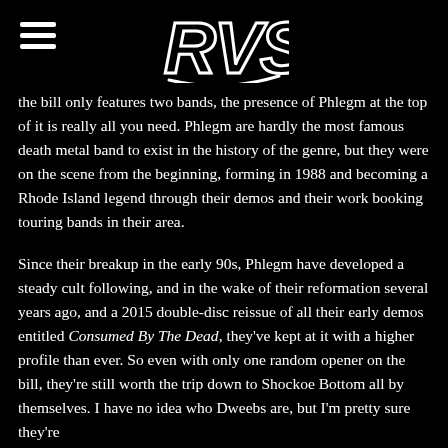[Figure (logo): RVS stylized logo in white outline on black background]
the bill only features two bands, the presence of Phlegm at the top of it is really all you need. Phlegm are hardly the most famous death metal band to exist in the history of the genre, but they were on the scene from the beginning, forming in 1988 and becoming a Rhode Island legend through their demos and their work booking touring bands in their area.
Since their breakup in the early 90s, Phlegm have developed a steady cult following, and in the wake of their reformation several years ago, and a 2015 double-disc reissue of all their early demos entitled Consumed By The Dead, they've kept at it with a higher profile than ever. So even with only one random opener on the bill, they're still worth the trip down to Shockoe Bottom all by themselves. I have no idea who Dweebs are, but I'm pretty sure they're